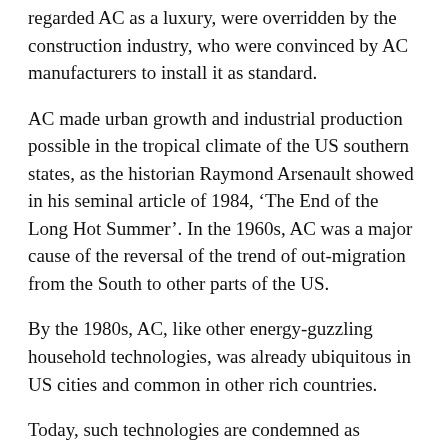regarded AC as a luxury, were overridden by the construction industry, who were convinced by AC manufacturers to install it as standard.
AC made urban growth and industrial production possible in the tropical climate of the US southern states, as the historian Raymond Arsenault showed in his seminal article of 1984, ‘The End of the Long Hot Summer’. In the 1960s, AC was a major cause of the reversal of the trend of out-migration from the South to other parts of the US.
By the 1980s, AC, like other energy-guzzling household technologies, was already ubiquitous in US cities and common in other rich countries.
Today, such technologies are condemned as wasteful of fossil fuels. An interpretive challenge in researching and discussing the global history of fossil fuel consumption is to explain how – even